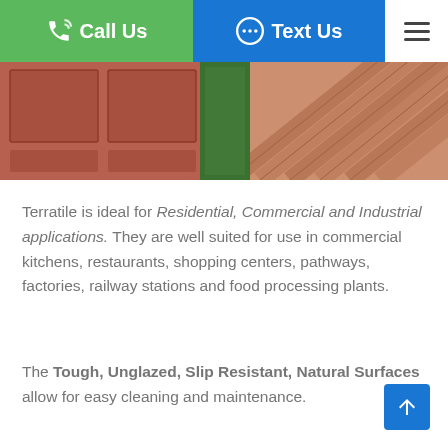Call Us | Text Us
[Figure (photo): Partial view of terratile products: left shows a dark red/brown tile mat, center shows partial green image, right shows a terracotta-colored floor with diagonal wood planks]
Terratile is ideal for Residential, Commercial and Industrial applications.  They are well suited for use in commercial kitchens, restaurants, shopping centers, pathways, factories, railway stations and food processing plants.
The Tough, Unglazed, Slip Resistant, Natural Surfaces allow for easy cleaning and maintenance.